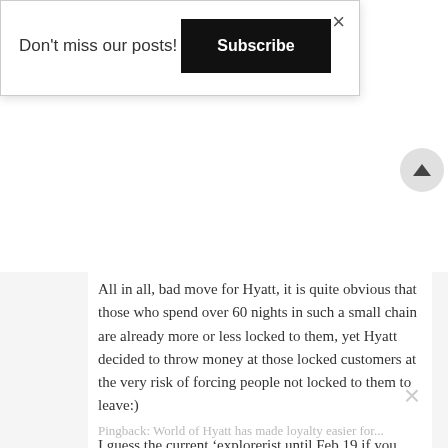Don't miss our posts!
Subscribe
All in all, bad move for Hyatt, it is quite obvious that those who spend over 60 nights in such a small chain are already more or less locked to them, yet Hyatt decided to throw money at those locked customers at the very risk of forcing people not locked to them to leave:)
I guess the current ‘explorerist until Feb 19 if you work for a big company’ thing is a clear sign of Hyatt learning a bit from the mistake.
Pingback: World of Hyatt has made loyalty easier for...